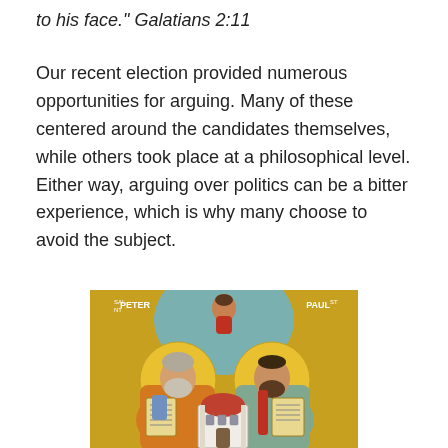to his face." Galatians 2:11
Our recent election provided numerous opportunities for arguing. Many of these centered around the candidates themselves, while others took place at a philosophical level. Either way, arguing over politics can be a bitter experience, which is why many choose to avoid the subject.
[Figure (illustration): Religious icon depicting Saints Peter and Paul holding a church model, with a small figure of Christ above between them. Labeled 'PETER' on the left and 'PAUL' on the right. Byzantine icon style with gold halos on yellow background.]